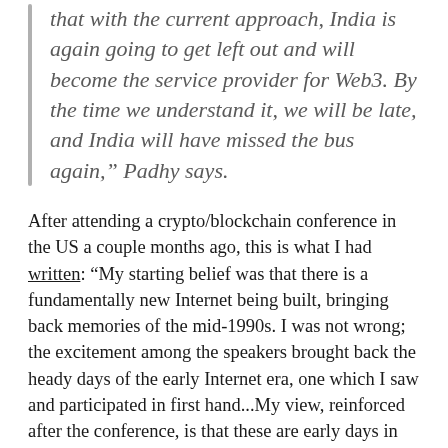that with the current approach, India is again going to get left out and will become the service provider for Web3. By the time we understand it, we will be late, and India will have missed the bus again," Padhy says.
After attending a crypto/blockchain conference in the US a couple months ago, this is what I had written: “My starting belief was that there is a fundamentally new Internet being built, bringing back memories of the mid-1990s. I was not wrong; the excitement among the speakers brought back the heady days of the early Internet era, one which I saw and participated in first hand...My view, reinforced after the conference, is that these are early days in the creation of the next generation